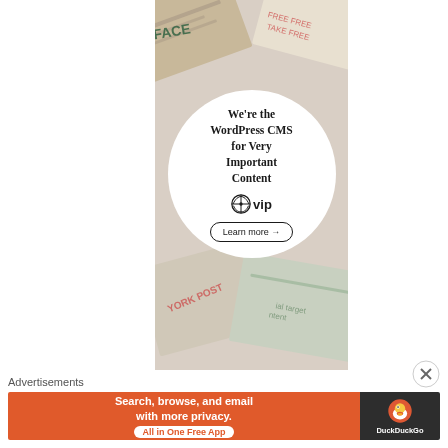[Figure (illustration): WordPress VIP advertisement showing newspapers in background with white circle containing tagline 'We're the WordPress CMS for Very Important Content', WordPress VIP logo, and 'Learn more' button]
Advertisements
[Figure (illustration): DuckDuckGo advertisement banner: 'Search, browse, and email with more privacy. All in One Free App' on orange background with DuckDuckGo logo on dark right panel]